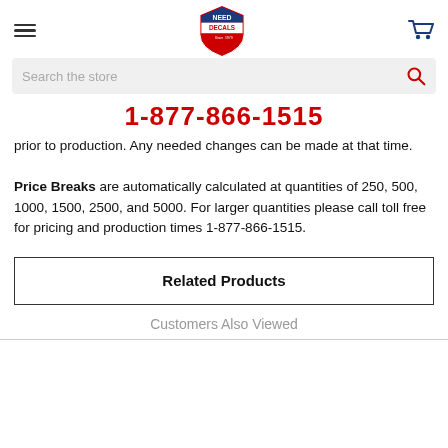Need Decals — Since 1979 (navigation bar with logo)
Search the store
1-877-866-1515
prior to production. Any needed changes can be made at that time.

Price Breaks are automatically calculated at quantities of 250, 500, 1000, 1500, 2500, and 5000. For larger quantities please call toll free for pricing and production times 1-877-866-1515.
Related Products
Customers Also Viewed